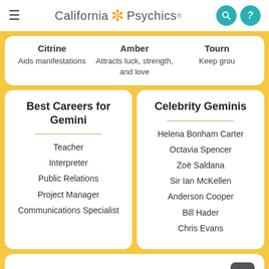California Psychics
Citrine | Aids manifestations | Amber | Attracts luck, strength, and love | Tourn | Keep grou
Best Careers for Gemini
Teacher
Interpreter
Public Relations
Project Manager
Communications Specialist
Celebrity Geminis
Helena Bonham Carter
Octavia Spencer
Zoë Saldana
Sir Ian McKellen
Anderson Cooper
Bill Hader
Chris Evans
Best Self-Care for Gemini